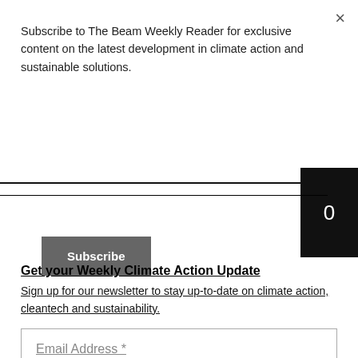×
Subscribe to The Beam Weekly Reader for exclusive content on the latest development in climate action and sustainable solutions.
Subscribe
0
Get your Weekly Climate Action Update
Sign up for our newsletter to stay up-to-date on climate action, cleantech and sustainability.
Email Address *
SUBSCRIBE